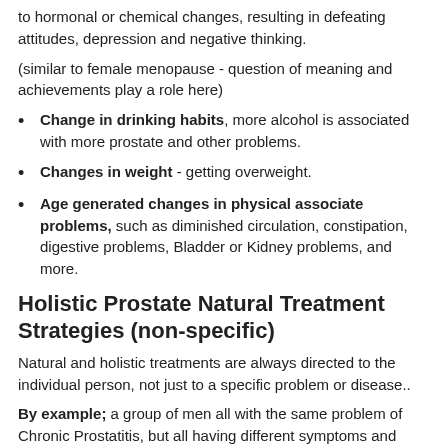to hormonal or chemical changes, resulting in defeating attitudes, depression and negative thinking.
(similar to female menopause - question of meaning and achievements play a role here)
Change in drinking habits, more alcohol is associated with more prostate and other problems.
Changes in weight - getting overweight.
Age generated changes in physical associate problems, such as diminished circulation, constipation, digestive problems, Bladder or Kidney problems, and more.
Holistic Prostate Natural Treatment Strategies (non-specific)
Natural and holistic treatments are always directed to the individual person, not just to a specific problem or disease..
By example; a group of men all with the same problem of Chronic Prostatitis, but all having different symptoms and underlying causative factors, which have to be considered in a Holistic Prostate Health Treatment.